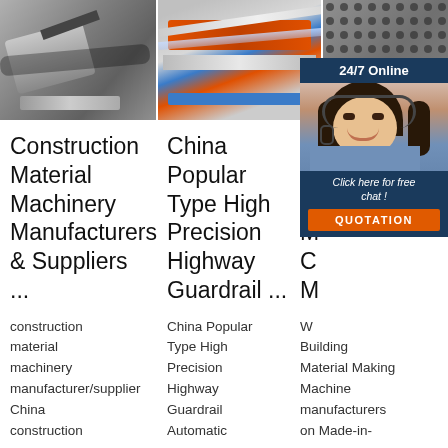[Figure (photo): Three-panel image strip showing industrial machinery: left panel shows metal forming/rolling equipment, center panel shows a blue and orange roll forming machine processing sheet metal, right panel shows perforated metal sheet with circular holes pattern]
[Figure (infographic): Live chat widget showing '24/7 Online', female customer service agent with headset, 'Click here for free chat!' text, and orange QUOTATION button]
Construction Material Machinery Manufacturers & Suppliers ...
China Popular Type High Precision Highway Guardrail ...
B M M M C M
construction material machinery manufacturer/supplier China construction
China Popular Type High Precision Highway Guardrail Automatic
W Building Material Making Machine manufacturers on Made-in-